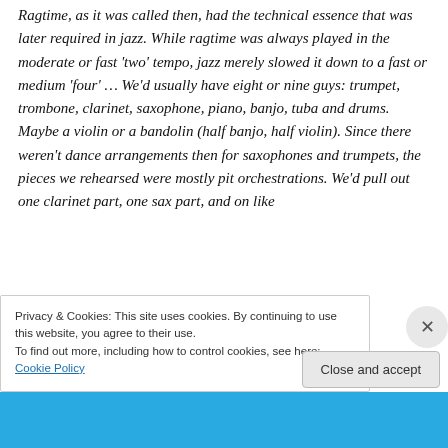Ragtime, as it was called then, had the technical essence that was later required in jazz. While ragtime was always played in the moderate or fast 'two' tempo, jazz merely slowed it down to a fast or medium 'four' … We'd usually have eight or nine guys: trumpet, trombone, clarinet, saxophone, piano, banjo, tuba and drums. Maybe a violin or a bandolin (half banjo, half violin). Since there weren't dance arrangements then for saxophones and trumpets, the pieces we rehearsed were mostly pit orchestrations. We'd pull out one clarinet part, one sax part, and on like
Privacy & Cookies: This site uses cookies. By continuing to use this website, you agree to their use.
To find out more, including how to control cookies, see here: Cookie Policy